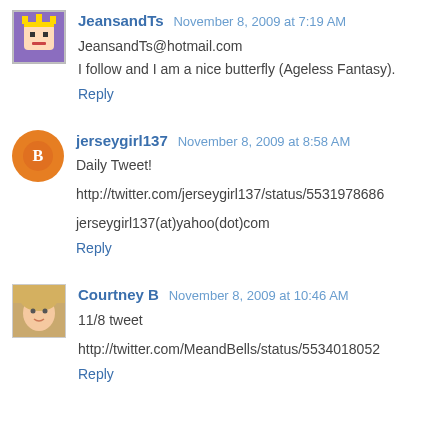JeansandTs  November 8, 2009 at 7:19 AM
JeansandTs@hotmail.com
I follow and I am a nice butterfly (Ageless Fantasy).
Reply
jerseygirl137  November 8, 2009 at 8:58 AM
Daily Tweet!
http://twitter.com/jerseygirl137/status/5531978686
jerseygirl137(at)yahoo(dot)com
Reply
Courtney B  November 8, 2009 at 10:46 AM
11/8 tweet
http://twitter.com/MeandBells/status/5534018052
Reply